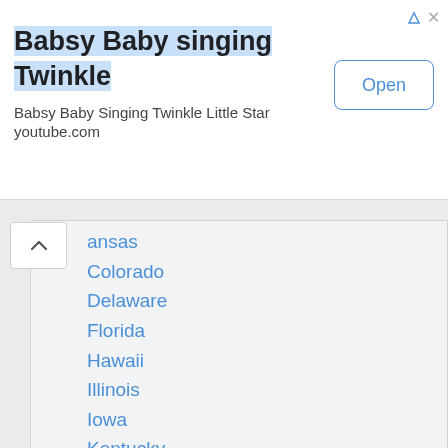[Figure (screenshot): Advertisement banner for 'Babsy Baby singing Twinkle' with an Open button, ad icon, and close button]
Babsy Baby singing Twinkle
Babsy Baby Singing Twinkle Little Star
youtube.com
ansas
Colorado
Delaware
Florida
Hawaii
Illinois
Iowa
Kentucky
Maine
Massachusetts
Minnesota
Missouri
Nebraska
New Hampshire
New Mexico
North Carolina
Ohio
Orego[n] (partially visible)